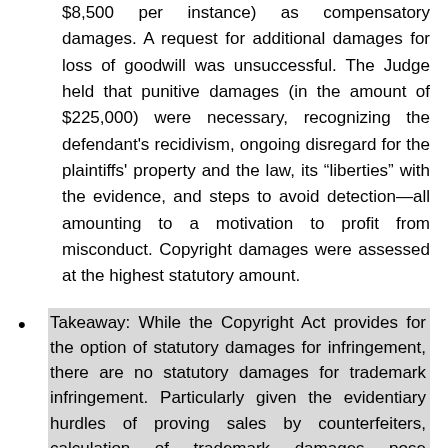$8,500 per instance) as compensatory damages. A request for additional damages for loss of goodwill was unsuccessful. The Judge held that punitive damages (in the amount of $225,000) were necessary, recognizing the defendant's recidivism, ongoing disregard for the plaintiffs' property and the law, its “liberties” with the evidence, and steps to avoid detection—all amounting to a motivation to profit from misconduct. Copyright damages were assessed at the highest statutory amount.
Takeaway: While the Copyright Act provides for the option of statutory damages for infringement, there are no statutory damages for trademark infringement. Particularly given the evidentiary hurdles of proving sales by counterfeiters, calculation of trademark damages pose significant difficulties. Early and complete investigation, along with detailed records on infringing sales will be necessary to permit the Court to use one of